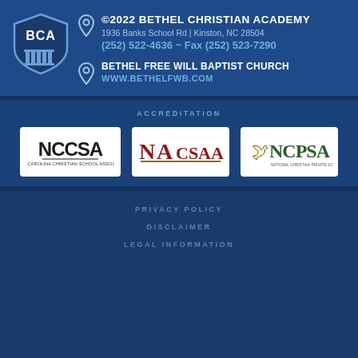[Figure (logo): BCA shield logo with columns]
©2022 BETHEL CHRISTIAN ACADEMY
1936 Banks School Rd | Kinston, NC 28504
(252) 522-4636 ~ Fax (252) 523-7290
BETHEL FREE WILL BAPTIST CHURCH
WWW.BETHELFWB.COM
ACCREDITATION
[Figure (logo): NCCSA logo]
[Figure (logo): NACSAA logo]
[Figure (logo): NCPSA logo]
PRIVACY POLICY
DISCLAIMER
LEGAL INFORMATION